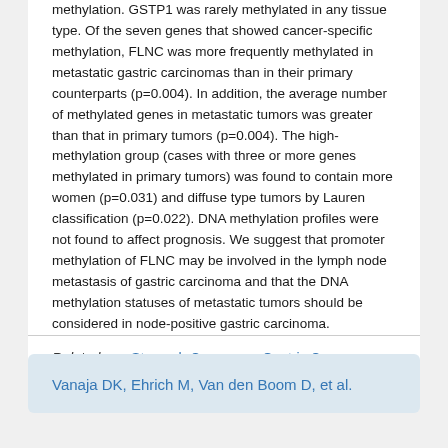methylation. GSTP1 was rarely methylated in any tissue type. Of the seven genes that showed cancer-specific methylation, FLNC was more frequently methylated in metastatic gastric carcinomas than in their primary counterparts (p=0.004). In addition, the average number of methylated genes in metastatic tumors was greater than that in primary tumors (p=0.004). The high-methylation group (cases with three or more genes methylated in primary tumors) was found to contain more women (p=0.031) and diffuse type tumors by Lauren classification (p=0.022). DNA methylation profiles were not found to affect prognosis. We suggest that promoter methylation of FLNC may be involved in the lymph node metastasis of gastric carcinoma and that the DNA methylation statuses of metastatic tumors should be considered in node-positive gastric carcinoma.
Related: ► Stomach Cancer ► Gastric Cancer
Vanaja DK, Ehrich M, Van den Boom D, et al.